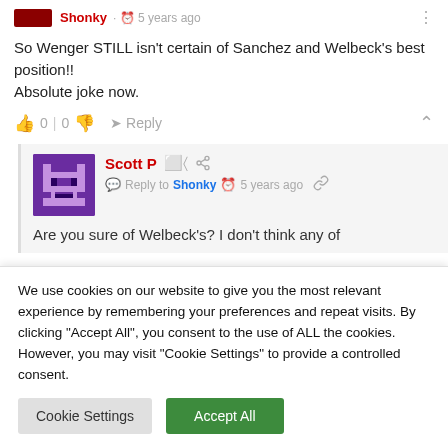Shonky · 5 years ago
So Wenger STILL isn't certain of Sanchez and Welbeck's best position!!
Absolute joke now.
0 | 0   Reply
Scott P
Reply to Shonky · 5 years ago
Are you sure of Welbeck's? I don't think any of
We use cookies on our website to give you the most relevant experience by remembering your preferences and repeat visits. By clicking "Accept All", you consent to the use of ALL the cookies. However, you may visit "Cookie Settings" to provide a controlled consent.